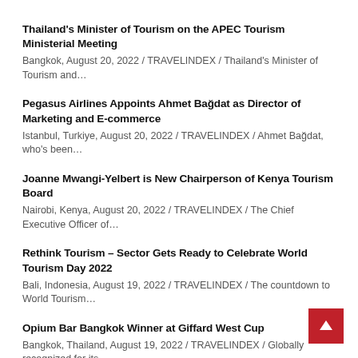Thailand's Minister of Tourism on the APEC Tourism Ministerial Meeting
Bangkok, August 20, 2022 / TRAVELINDEX / Thailand's Minister of Tourism and…
Pegasus Airlines Appoints Ahmet Bağdat as Director of Marketing and E-commerce
Istanbul, Turkiye, August 20, 2022 / TRAVELINDEX / Ahmet Bağdat, who's been…
Joanne Mwangi-Yelbert is New Chairperson of Kenya Tourism Board
Nairobi, Kenya, August 20, 2022 / TRAVELINDEX / The Chief Executive Officer of…
Rethink Tourism – Sector Gets Ready to Celebrate World Tourism Day 2022
Bali, Indonesia, August 19, 2022 / TRAVELINDEX / The countdown to World Tourism…
Opium Bar Bangkok Winner at Giffard West Cup
Bangkok, Thailand, August 19, 2022 / TRAVELINDEX / Globally recognized for its…